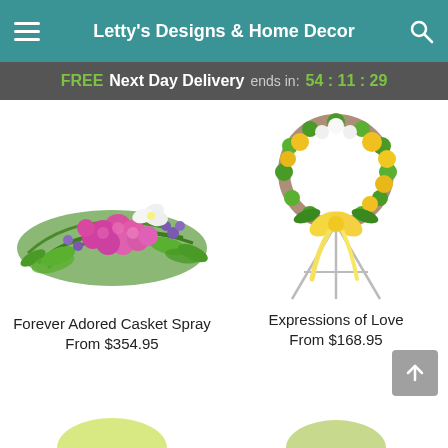Letty's Designs & Home Decor
FREE Next Day Delivery ends in: 54:11:29
[Figure (photo): Forever Adored Casket Spray — a large horizontal floral arrangement featuring pink roses, white lilies, purple accent flowers, and green foliage]
Forever Adored Casket Spray
From $354.95
[Figure (photo): Expressions of Love — a round wreath-style floral arrangement on a metal easel stand, featuring yellow orchids, white flowers, and a yellow ribbon bow]
Expressions of Love
From $168.95